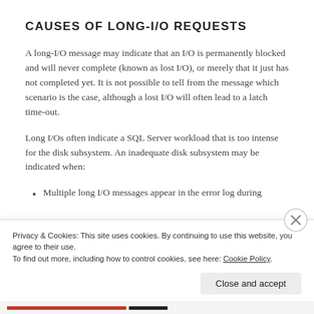CAUSES OF LONG-I/O REQUESTS
A long-I/O message may indicate that an I/O is permanently blocked and will never complete (known as lost I/O), or merely that it just has not completed yet. It is not possible to tell from the message which scenario is the case, although a lost I/O will often lead to a latch time-out.
Long I/Os often indicate a SQL Server workload that is too intense for the disk subsystem. An inadequate disk subsystem may be indicated when:
Multiple long I/O messages appear in the error log during
Privacy & Cookies: This site uses cookies. By continuing to use this website, you agree to their use.
To find out more, including how to control cookies, see here: Cookie Policy